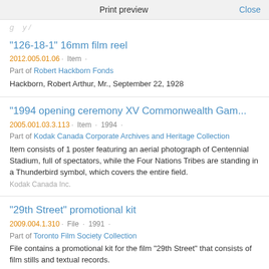Print preview   Close
"126-18-1" 16mm film reel
2012.005.01.06 · Item ·
Part of Robert Hackborn Fonds
Hackborn, Robert Arthur, Mr., September 22, 1928
"1994 opening ceremony XV Commonwealth Gam...
2005.001.03.3.113 · Item · 1994 ·
Part of Kodak Canada Corporate Archives and Heritage Collection
Item consists of 1 poster featuring an aerial photograph of Centennial Stadium, full of spectators, while the Four Nations Tribes are standing in a Thunderbird symbol, which covers the entire field.
Kodak Canada Inc.
"29th Street" promotional kit
2009.004.1.310 · File · 1991 ·
Part of Toronto Film Society Collection
File contains a promotional kit for the film "29th Street" that consists of film stills and textual records.
"35mm neg/b&w/colour/see list inside" - 2 inch bi...